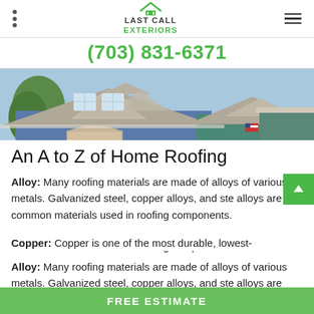Last Call Exteriors — (703) 831-6371
[Figure (photo): Exterior photo of a two-story house with blue siding, white trim, and a gray shingle roof with prominent gabled peaks]
An A to Z of Home Roofing
Alloy: Many roofing materials are made of alloys of various metals. Galvanized steel, copper alloys, and steel alloys are common materials used in roofing components.
Copper: Copper is one of the most durable, lowest-maintenance roofing materials available, giving roofs a gorgeous green patina as it ages.